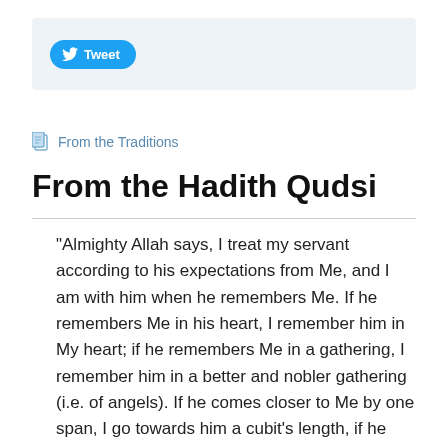[Figure (screenshot): Twitter Tweet button in a light blue-grey bar]
From the Traditions
From the Hadith Qudsi
"Almighty Allah says, I treat my servant according to his expectations from Me, and I am with him when he remembers Me. If he remembers Me in his heart, I remember him in My heart; if he remembers Me in a gathering, I remember him in a better and nobler gathering (i.e. of angels). If he comes closer to Me by one span, I go towards him a cubit's length, if he comes towards Me by a cubit's length, I go towards him an arm's